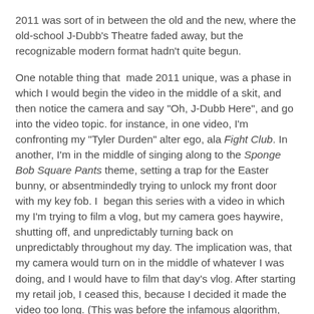2011 was sort of in between the old and the new, where the old-school J-Dubb's Theatre faded away, but the recognizable modern format hadn't quite begun.
One notable thing that  made 2011 unique, was a phase in which I would begin the video in the middle of a skit, and then notice the camera and say "Oh, J-Dubb Here", and go into the video topic. for instance, in one video, I'm confronting my "Tyler Durden" alter ego, ala Fight Club. In another, I'm in the middle of singing along to the Sponge Bob Square Pants theme, setting a trap for the Easter bunny, or absentmindedly trying to unlock my front door with my key fob. I  began this series with a video in which my I'm trying to film a vlog, but my camera goes haywire, shutting off, and unpredictably turning back on unpredictably throughout my day. The implication was, that my camera would turn on in the middle of whatever I was doing, and I would have to film that day's vlog. After starting my retail job, I ceased this, because I decided it made the video too long. (This was before the infamous algorithm, which favors longer run times.)